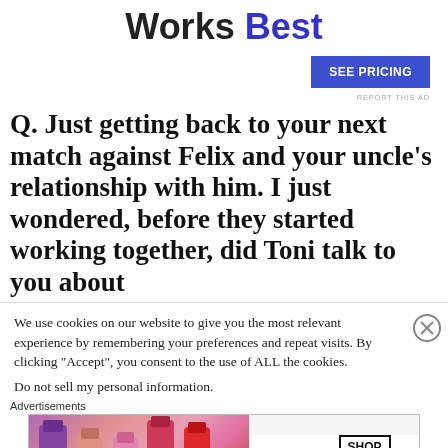Works Best
SEE PRICING
REPORT THIS AD
Q. Just getting back to your next match against Felix and your uncle’s relationship with him. I just wondered, before they started working together, did Toni talk to you about
We use cookies on our website to give you the most relevant experience by remembering your preferences and repeat visits. By clicking “Accept”, you consent to the use of ALL the cookies.
Do not sell my personal information.
Advertisements
[Figure (photo): MAC Cosmetics advertisement banner showing colorful lipsticks on the left side, MAC logo in cursive in the center, and a SHOP NOW box on the right.]